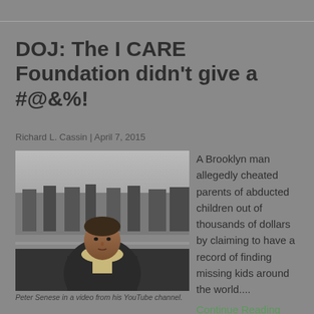DOJ: The I CARE Foundation didn't give a #@&%!
Richard L. Cassin | April 7, 2015
[Figure (photo): Man in winter outdoor setting, wearing a dark jacket and light scarf. Photo from a YouTube channel video.]
Peter Senese in a video from his YouTube channel.
A Brooklyn man allegedly cheated parents of abducted children out of thousands of dollars by claiming to have a record of finding missing kids around the world....
Continue Reading